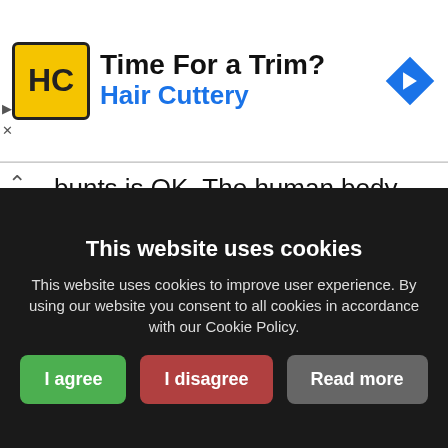[Figure (screenshot): Advertisement banner for Hair Cuttery salon with logo, headline 'Time For a Trim?', subheading 'Hair Cuttery', and a navigation arrow icon]
bunts is OK. The human body has the ability to expell excess iodine. Ie, if you take too much iodine, more than your body can process, you just pee it out. So for a child, one drop of Lugol's in water on an empty stomach is fine. As would be one drop or even two of detoxified iodine.

In fact, I had a friend who had huge fibroids and her doctor wanted her to have a hysterectomy. (3 docs wanted her to)
This website uses cookies
This website uses cookies to improve user experience. By using our website you consent to all cookies in accordance with our Cookie Policy.